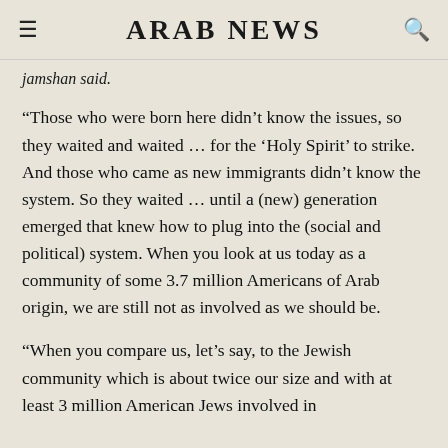ARAB NEWS
jamshan said.
“Those who were born here didn’t know the issues, so they waited and waited … for the ‘Holy Spirit’ to strike. And those who came as new immigrants didn’t know the system. So they waited … until a (new) generation emerged that knew how to plug into the (social and political) system. When you look at us today as a community of some 3.7 million Americans of Arab origin, we are still not as involved as we should be.
“When you compare us, let’s say, to the Jewish community which is about twice our size and with at least 3 million American Jews involved in